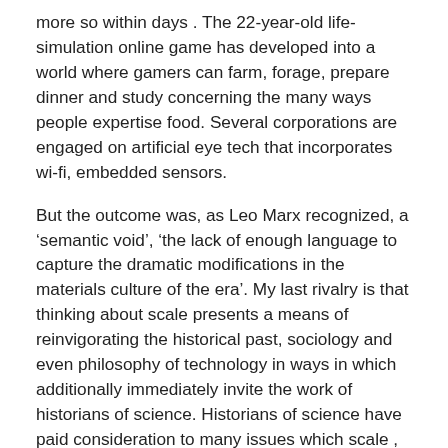more so within days . The 22-year-old life-simulation online game has developed into a world where gamers can farm, forage, prepare dinner and study concerning the many ways people expertise food. Several corporations are engaged on artificial eye tech that incorporates wi-fi, embedded sensors.
But the outcome was, as Leo Marx recognized, a ‘semantic void’, ‘the lack of enough language to capture the dramatic modifications in the materials culture of the era’. My last rivalry is that thinking about scale presents a means of reinvigorating the historical past, sociology and even philosophy of technology in ways in which additionally immediately invite the work of historians of science. Historians of science have paid consideration to many issues which scale , though it is telling that we do not have a word for the overall category, suggesting that there’s an opening for extra basic and deeper evaluation. Likewise, historians of expertise have gravitated to descriptions of scale – think for instance of accounts of worldwide methods, or the Tensions of Programme preparations from technological